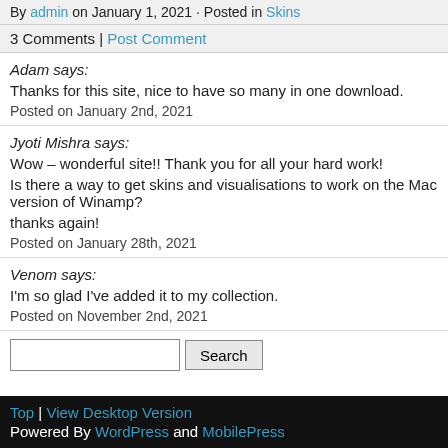By admin on January 1, 2021 · Posted in Skins
3 Comments | Post Comment
Adam says:
Thanks for this site, nice to have so many in one download.
Posted on January 2nd, 2021
Jyoti Mishra says:
Wow – wonderful site!! Thank you for all your hard work!
Is there a way to get skins and visualisations to work on the Mac version of Winamp?
thanks again!
Posted on January 28th, 2021
Venom says:
I'm so glad I've added it to my collection.
Posted on November 2nd, 2021
Search
Top | View Desktop Version
Powered By WordPress and MobilePress